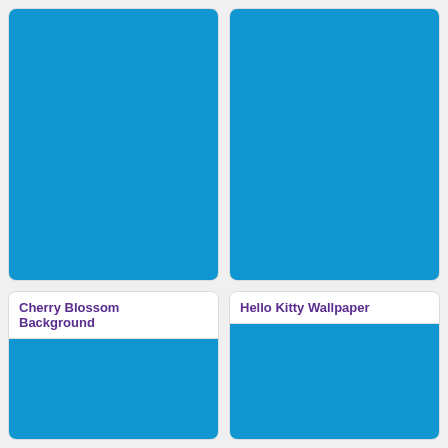[Figure (screenshot): Blue image thumbnail for first card (top-left), partially visible]
15 | 81 KB
DOWNLOAD
[Figure (screenshot): Blue image thumbnail for second card (top-right), partially visible, taller]
54 | 318 KB
DOWNLOAD
Cherry Blossom Background
[Figure (screenshot): Blue image thumbnail for Cherry Blossom Background card]
Hello Kitty Wallpaper
[Figure (screenshot): Blue image thumbnail for Hello Kitty Wallpaper card]